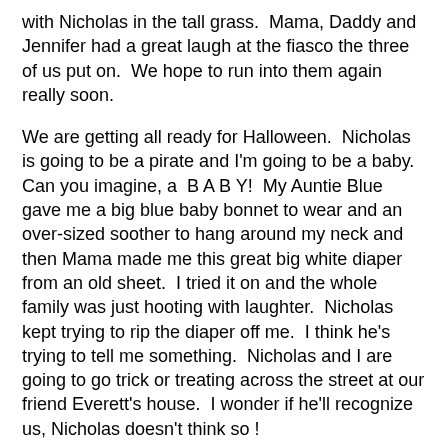with Nicholas in the tall grass.  Mama, Daddy and Jennifer had a great laugh at the fiasco the three of us put on.  We hope to run into them again really soon.
We are getting all ready for Halloween.  Nicholas is going to be a pirate and I'm going to be a baby.  Can you imagine, a  B A B Y!  My Auntie Blue gave me a big blue baby bonnet to wear and an over-sized soother to hang around my neck and then Mama made me this great big white diaper from an old sheet.  I tried it on and the whole family was just hooting with laughter.  Nicholas kept trying to rip the diaper off me.  I think he's trying to tell me something.  Nicholas and I are going to go trick or treating across the street at our friend Everett's house.  I wonder if he'll recognize us, Nicholas doesn't think so !
We had a visit last week from our new friends Bonny and Murray.  They are real dog people and we really like them.  I sat right up beside Murray on the couch and he talked to me and rubbed my white chest.  Heaven!  (see pic attached).  He told me that I'm the most beautiful big dog he's ever seen, (just keep it coming Murray!).  Hope to see them again real soon!